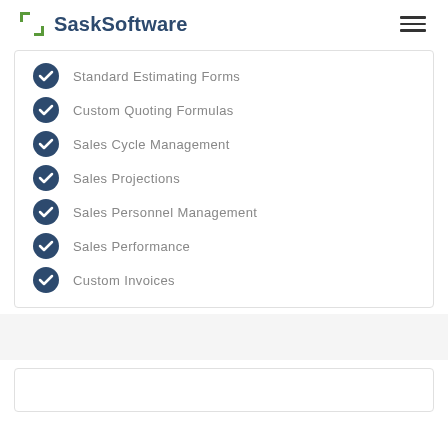SaskSoftware
Standard Estimating Forms
Custom Quoting Formulas
Sales Cycle Management
Sales Projections
Sales Personnel Management
Sales Performance
Custom Invoices